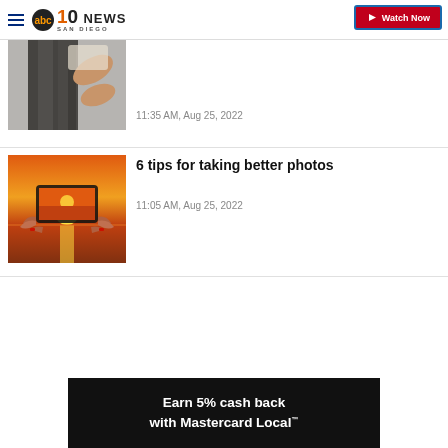ABC10 News San Diego — Watch Now
[Figure (photo): Person holding their long black hair up, partial view, article thumbnail]
11:35 AM, Aug 25, 2022
[Figure (photo): Hands holding a smartphone photographing a sunset over water]
6 tips for taking better photos
11:05 AM, Aug 25, 2022
[Figure (infographic): Advertisement banner: Earn 5% cash back with Mastercard Local™]